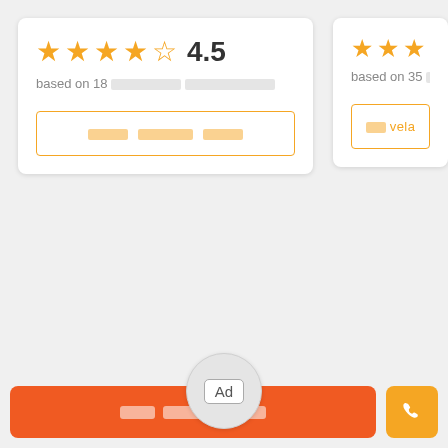[Figure (screenshot): Rating card showing 4.5 stars out of 5, with text 'based on 18 [blurred] [blurred]' and an orange outlined button with blurred text. A second partial card is visible on the right showing stars and 'based on 35 [blurred]' text with a partially visible button.]
[Figure (infographic): Ad bubble: a circular grey badge centered near the bottom of the content area, containing a white rounded rectangle with the text 'Ad']
[Figure (screenshot): Bottom action bar with an orange 'book/contact' button (blurred text) and an orange phone button with a phone icon]